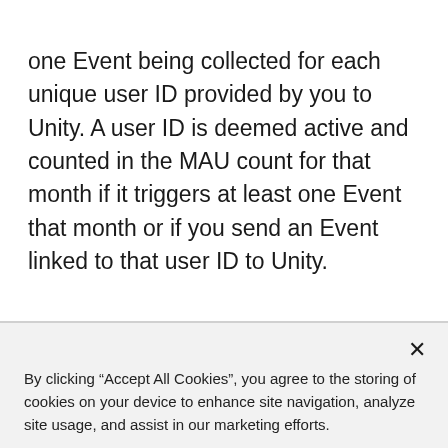one Event being collected for each unique user ID provided by you to Unity. A user ID is deemed active and counted in the MAU count for that month if it triggers at least one Event that month or if you send an Event linked to that user ID to Unity.
By clicking “Accept All Cookies”, you agree to the storing of cookies on your device to enhance site navigation, analyze site usage, and assist in our marketing efforts.
Cookies Settings
Accept All Cookies